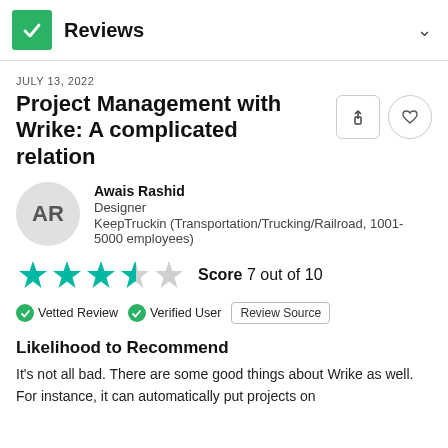Reviews
JULY 13, 2022
Project Management with Wrike: A complicated relation
Awais Rashid
Designer
KeepTruckin (Transportation/Trucking/Railroad, 1001-5000 employees)
Score 7 out of 10
Vetted Review   Verified User   Review Source
Likelihood to Recommend
It's not all bad. There are some good things about Wrike as well. For instance, it can automatically put projects on